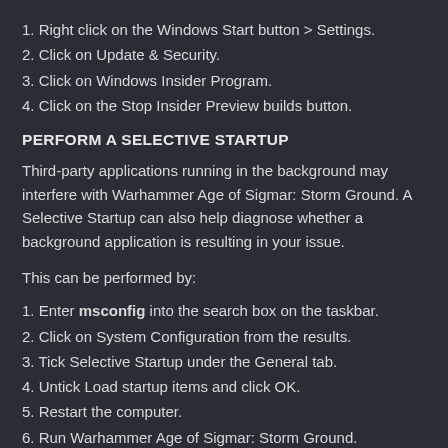1. Right click on the Windows Start button > Settings.
2. Click on Update & Security.
3. Click on Windows Insider Program.
4. Click on the Stop Insider Preview builds button.
PERFORM A SELECTIVE STARTUP
Third-party applications running in the background may interfere with Warhammer Age of Sigmar: Storm Ground. A Selective Startup can also help diagnose whether a background application is resulting in your issue.
This can be performed by:
1. Enter msconfig into the search box on the taskbar.
2. Click on System Configuration from the results.
3. Tick Selective Startup under the General tab.
4. Untick Load startup items and click OK.
5. Restart the computer.
6. Run Warhammer Age of Sigmar: Storm Ground.